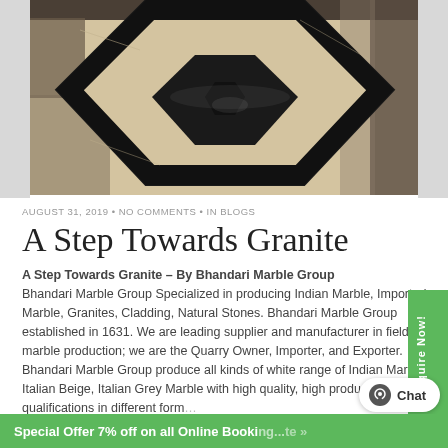[Figure (photo): Interior marble floor with large hexagonal black granite inlay pattern on beige/cream marble background, photographed in a grand lobby or hall]
AUGUST 31, 2019 • NO COMMENTS • IN BLOGS
A Step Towards Granite
A Step Towards Granite – By Bhandari Marble Group
Bhandari Marble Group Specialized in producing Indian Marble, Imported Marble, Granites, Cladding, Natural Stones. Bhandari Marble Group established in 1631. We are leading supplier and manufacturer in field of marble production; we are the Quarry Owner, Importer, and Exporter.
Bhandari Marble Group produce all kinds of white range of Indian Marble, Italian Beige, Italian Grey Marble with high quality, high production qualifications in different form...
Special Offer 7% off on all Online Booking...te »
Enquire Now!